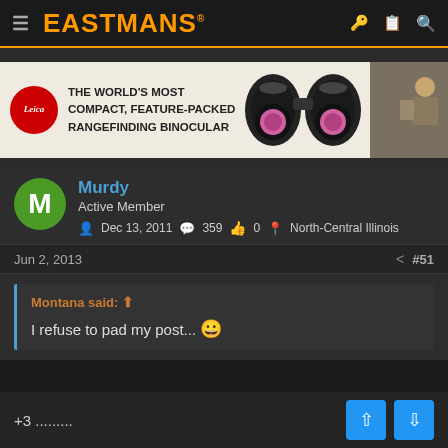EASTMANS
[Figure (photo): Leica advertisement banner: THE WORLD'S MOST COMPACT, FEATURE-PACKED RANGEFINDING BINOCULAR with binoculars image and person in background]
Murdy
Active Member
Dec 13, 2011  359  0  North-Central Illinois
Jun 2, 2013  #51
Montana said: ↑

I refuse to pad my post... 🙂
+3 .........